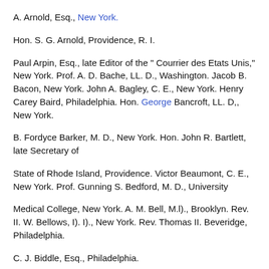A. Arnold, Esq., New York.
Hon. S. G. Arnold, Providence, R. I.
Paul Arpin, Esq., late Editor of the " Courrier des Etats Unis," New York. Prof. A. D. Bache, LL. D., Washington. Jacob B. Bacon, New York. John A. Bagley, C. E., New York. Henry Carey Baird, Philadelphia. Hon. George Bancroft, LL. D,, New York.
B. Fordyce Barker, M. D., New York. Hon. John R. Bartlett, late Secretary of
State of Rhode Island, Providence. Victor Beaumont, C. E., New York. Prof. Gunning S. Bedford, M. D., University
Medical College, New York. A. M. Bell, M.l)., Brooklyn. Rev. II. W. Bellows, I). I)., New York. Rev. Thomas II. Beveridge, Philadelphia.
C. J. Biddle, Esq., Philadelphia.
Julius Bing, late U. S. Consul in Smyrna.
Rev. II. Bishop, Oxford, Ohio.
Hon. Jeremiah S. Black, late U. S. Attorney